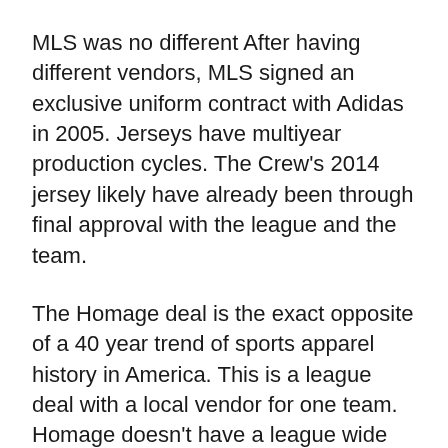MLS was no different After having different vendors, MLS signed an exclusive uniform contract with Adidas in 2005. Jerseys have multiyear production cycles. The Crew's 2014 jersey likely have already been through final approval with the league and the team.
The Homage deal is the exact opposite of a 40 year trend of sports apparel history in America. This is a league deal with a local vendor for one team. Homage doesn't have a league wide license. They will only produce Crew gear. The designs aren't the monolithic templates from Adidas. These are designed in town with input from the team and the league.
Ultimately Crew fans are going to have the deciding vote if this trial works. If Homage and the Crew got it right, those t-shirts and sweatshirts will be flying off the